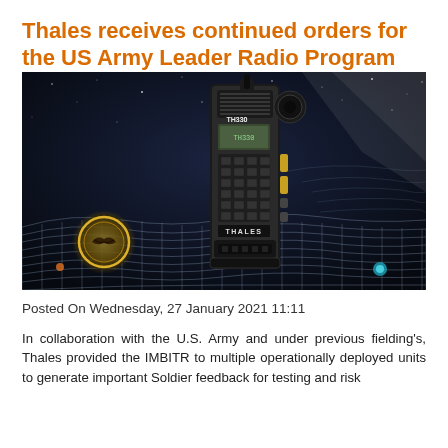Thales receives continued orders for the US Army Leader Radio Program
[Figure (photo): Thales TH330 military handheld radio displayed against a dark space/night sky background with blue and white digital grid terrain and glowing circular Thales logo badge in lower left. Radio is a ruggedized black handheld transceiver with keypad, display screen, and side controls.]
Posted On Wednesday, 27 January 2021 11:11
In collaboration with the U.S. Army and under previous fielding's, Thales provided the IMBITR to multiple operationally deployed units to generate important Soldier feedback for testing and risk